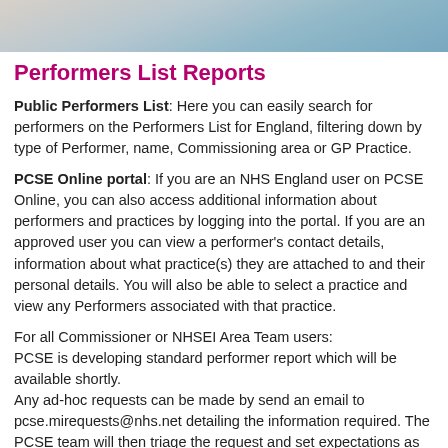[Figure (photo): Cropped photo strip showing people, partially visible at top of page]
Performers List Reports
Public Performers List: Here you can easily search for performers on the Performers List for England, filtering down by type of Performer, name, Commissioning area or GP Practice.
PCSE Online portal: If you are an NHS England user on PCSE Online, you can also access additional information about performers and practices by logging into the portal. If you are an approved user you can view a performer's contact details, information about what practice(s) they are attached to and their personal details. You will also be able to select a practice and view any Performers associated with that practice.
For all Commissioner or NHSEI Area Team users:
PCSE is developing standard performer report which will be available shortly.
Any ad-hoc requests can be made by send an email to pcse.mirequests@nhs.net detailing the information required. The PCSE team will then triage the request and set expectations as to whether it can be delivered. Please note: this is for one-off requests and not for regular reporting, until the replacement report is